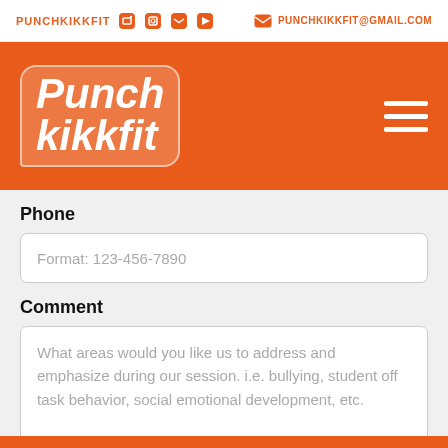PUNCHKIKKFIT  PUNCHKIKKFIT@GMAIL.COM
[Figure (logo): Punch kikkfit logo in white text on orange background with hamburger menu icon]
Phone
Format: 123-456-7890
Comment
What areas would you like us to address and emphasize during our session. i.e. bullying, student off task behavior, social emotional development, etc.